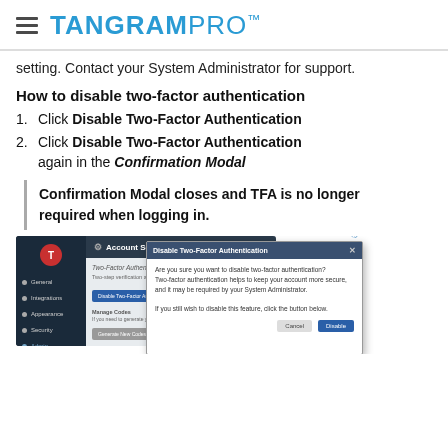TANGRAM PRO™
setting. Contact your System Administrator for support.
How to disable two-factor authentication
Click Disable Two-Factor Authentication
Click Disable Two-Factor Authentication again in the Confirmation Modal
Confirmation Modal closes and TFA is no longer required when logging in.
[Figure (screenshot): Screenshot showing Account Settings page with Two-Factor Authentication section and a Disable Two-Factor Authentication button, overlaid with a Confirmation Modal dialog asking to confirm disabling two-factor authentication.]